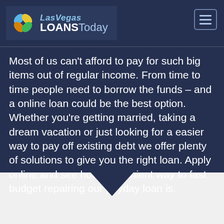[Figure (logo): Las Vegas Loans Today logo with four-petal flower icon in yellow, gold, blue and green, and stylized text 'LasVegas LOANS Today']
Most of us can't afford to pay for such big items out of regular income. From time to time people need to borrow the funds – and a online loan could be the best option. Whether you're getting married, taking a dream vacation or just looking for a easier way to pay off existing debt we offer plenty of solutions to give you the right loan. Apply online and see how convenient way to fast budget repairing our payday loan is.